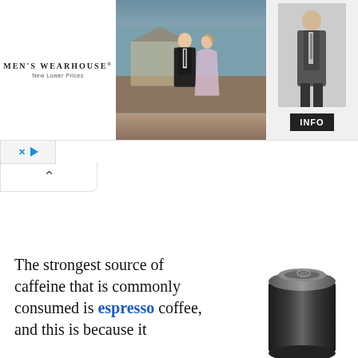[Figure (photo): Men's Wearhouse advertisement banner showing a couple in formal wear, a man in a tuxedo standing separately, and an INFO button. Text reads MEN'S WEARHOUSE New Lower Prices.]
[Figure (photo): A dark metallic beverage can (energy drink or similar) shown upright.]
The strongest source of caffeine that is commonly consumed is espresso coffee, and this is because it